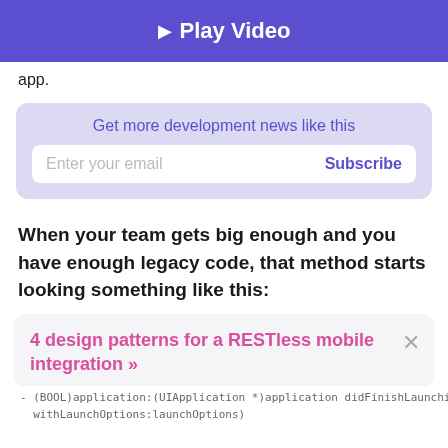[Figure (other): Purple banner with play button icon and text 'Play Video']
app.
Get more development news like this
Enter your email    Subscribe
When your team gets big enough and you have enough legacy code, that method starts looking something like this:
4 design patterns for a RESTless mobile integration »
withLaunchOptions:launchOptions)